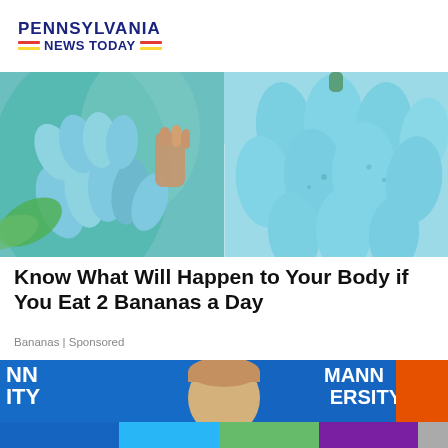PENNSYLVANIA NEWS TODAY
[Figure (photo): Two side-by-side photos of blue/teal colored bananas on a plant]
Know What Will Happen to Your Body if You Eat 2 Bananas a Day
Bananas | Sponsored
[Figure (photo): Partial photo of a person at a Neumann University event with colorful bar at bottom]